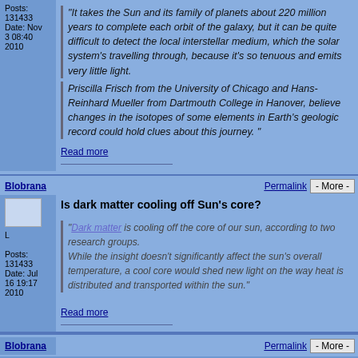Posts: 131433
Date: Nov 3 08:40 2010
"It takes the Sun and its family of planets about 220 million years to complete each orbit of the galaxy, but it can be quite difficult to detect the local interstellar medium, which the solar system's travelling through, because it's so tenuous and emits very little light.
Priscilla Frisch from the University of Chicago and Hans-Reinhard Mueller from Dartmouth College in Hanover, believe changes in the isotopes of some elements in Earth's geologic record could hold clues about this journey. "
Read more
Blobrana
Permalink
- More -
L
Posts: 131433
Date: Jul 16 19:17 2010
Is dark matter cooling off Sun's core?
"Dark matter is cooling off the core of our sun, according to two research groups. While the insight doesn't significantly affect the sun's overall temperature, a cool core would shed new light on the way heat is distributed and transported within the sun."
Read more
Blobrana
Permalink
- More -